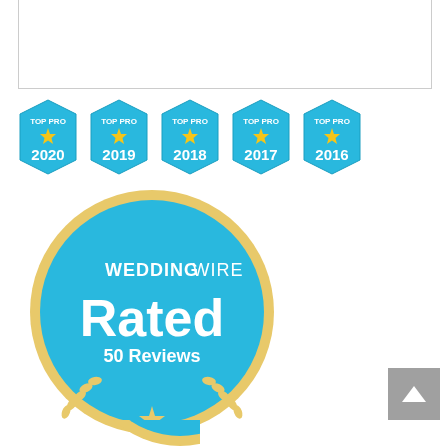[Figure (logo): Five blue hexagonal 'Top Pro' badges for years 2020, 2019, 2018, 2017, 2016 with gold stars]
[Figure (logo): WeddingWire Rated 50 Reviews circular badge in blue and gold]
[Figure (logo): Partial WeddingWire badge at bottom, cut off]